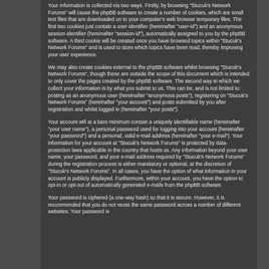Your information is collected via two ways. Firstly, by browsing "Stucuk's Network Forums" will cause the phpBB software to create a number of cookies, which are small text files that are downloaded on to your computer's web browser temporary files. The first two cookies just contain a user identifier (hereinafter "user-id") and an anonymous session identifier (hereinafter "session-id"), automatically assigned to you by the phpBB software. A third cookie will be created once you have browsed topics within "Stucuk's Network Forums" and is used to store which topics have been read, thereby improving your user experience.
We may also create cookies external to the phpBB software whilst browsing "Stucuk's Network Forums", though these are outside the scope of this document which is intended to only cover the pages created by the phpBB software. The second way in which we collect your information is by what you submit to us. This can be, and is not limited to: posting as an anonymous user (hereinafter "anonymous posts"), registering on "Stucuk's Network Forums" (hereinafter "your account") and posts submitted by you after registration and whilst logged in (hereinafter "your posts").
Your account will at a bare minimum contain a uniquely identifiable name (hereinafter "your user name"), a personal password used for logging into your account (hereinafter "your password") and a personal, valid e-mail address (hereinafter "your e-mail"). Your information for your account at "Stucuk's Network Forums" is protected by data-protection laws applicable in the country that hosts us. Any information beyond your user name, your password, and your e-mail address required by "Stucuk's Network Forums" during the registration process is either mandatory or optional, at the discretion of "Stucuk's Network Forums". In all cases, you have the option of what information in your account is publicly displayed. Furthermore, within your account, you have the option to opt-in or opt-out of automatically generated e-mails from the phpBB software.
Your password is ciphered (a one-way hash) so that it is secure. However, it is recommended that you do not reuse the same password across a number of different websites. Your password is